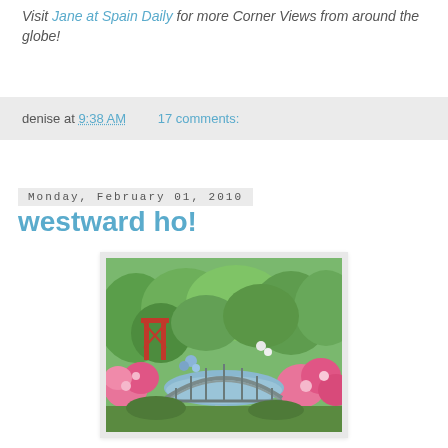Visit Jane at Spain Daily for more Corner Views from around the globe!
denise at 9:38 AM    17 comments:
Monday, February 01, 2010
westward ho!
[Figure (photo): A colorful garden with pink roses and other flowers in bloom, featuring a decorative arched metal bridge in the foreground and a red bridge/structure in the background, surrounded by lush green foliage.]
Getting out to the Domes for our annual train show exhibit is